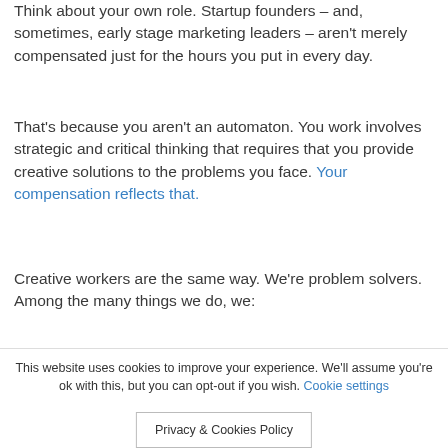Think about your own role. Startup founders – and, sometimes, early stage marketing leaders – aren't merely compensated just for the hours you put in every day.
That's because you aren't an automaton. You work involves strategic and critical thinking that requires that you provide creative solutions to the problems you face. Your compensation reflects that.
Creative workers are the same way. We're problem solvers. Among the many things we do, we:
Figure out a problem your customers are facing and present a solution.
This website uses cookies to improve your experience. We'll assume you're ok with this, but you can opt-out if you wish.
Privacy & Cookies Policy